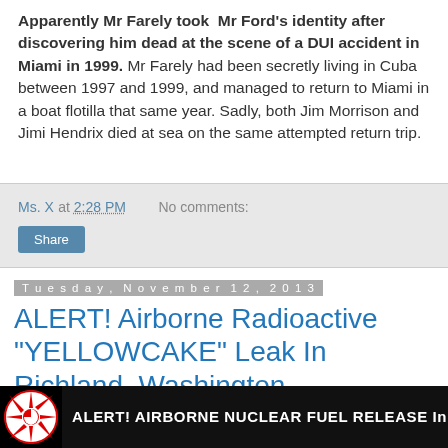Apparently Mr Farely took Mr Ford's identity after discovering him dead at the scene of a DUI accident in Miami in 1999. Mr Farely had been secretly living in Cuba between 1997 and 1999, and managed to return to Miami in a boat flotilla that same year. Sadly, both Jim Morrison and Jimi Hendrix died at sea on the same attempted return trip.
Ms. X at 2:28 PM   No comments:  Share
Tuesday, November 12, 2013
ALERT! Airborne Radioactive "YELLOWCAKE" Leak In Richland, Washington
[Figure (screenshot): Black thumbnail bar with a nuclear warning symbol icon on the left and text reading 'ALERT! AIRBORNE NUCLEAR FUEL RELEASE In' in white bold capital letters]